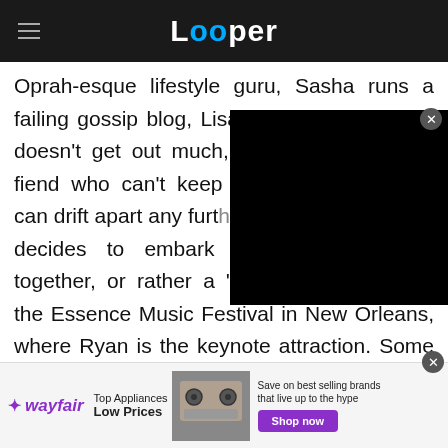Looper
Oprah-esque lifestyle guru, Sasha runs a failing gossip blog, Lisa is a nurse a[nd] doesn't get out much, and D[ina is a] party fiend who can't keep a[nyone. Before] they can drift apart any furt[her, the "Flossy Posse"] decides to embark on a mini-vacation together, or rather a "Girls Trip," attending the Essence Music Festival in New Orleans, where Ryan is the keynote attraction. Some traumatic news draws the group closer together, and New Orleans' many
[Figure (screenshot): Black video overlay rectangle covering part of the article text]
wayfair — Top Appliances Low Prices — Save on best selling brands that live up to the hype — Shop now